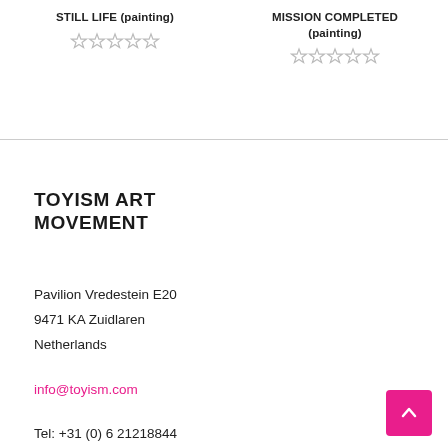STILL LIFE (painting)
☆☆☆☆☆
MISSION COMPLETED (painting)
☆☆☆☆☆
TOYISM ART MOVEMENT
Pavilion Vredestein E20
9471 KA Zuidlaren
Netherlands
info@toyism.com
Tel: +31 (0) 6 21218844